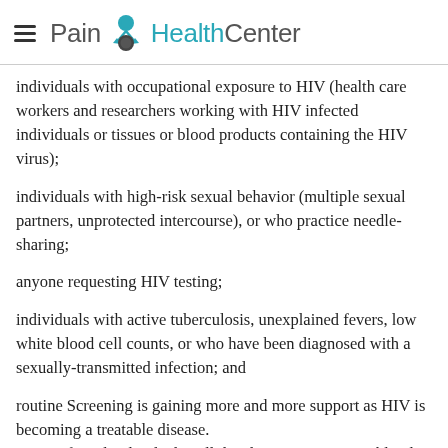Pain HealthCenter
individuals with occupational exposure to HIV (health care workers and researchers working with HIV infected individuals or tissues or blood products containing the HIV virus);
individuals with high-risk sexual behavior (multiple sexual partners, unprotected intercourse), or who practice needle-sharing;
anyone requesting HIV testing;
individuals with active tuberculosis, unexplained fevers, low white blood cell counts, or who have been diagnosed with a sexually-transmitted infection; and
routine Screening is gaining more and more support as HIV is becoming a treatable disease.
Most infected individuals will develop a positive HIV blood test within 3 months of being exposed to HIV. If